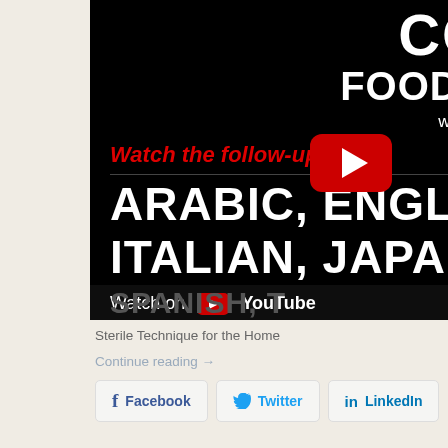[Figure (screenshot): A YouTube video thumbnail/screenshot showing COVID-19 Food Safety Tips with Dr. Jeffrey VanWingen. The black background features large white bold text 'COVID-19 FOOD SAFETY TIPS with Dr. Jeffrey VanWingen', a red italic text 'Watch the follow-up vide...updat', a YouTube play button logo overlay, and then large white bold text listing languages: 'ARABIC, ENGLISH, FRENCH, GE...' and 'ITALIAN, JAPANESE, KOREAN,...' and a Watch on YouTube bar, with partial text 'SPANISH, TURKISH' visible. A person in a white coat is partially visible on the right.]
Sterile Technique for the Home
Continue reading →
Facebook   Twitter   LinkedIn